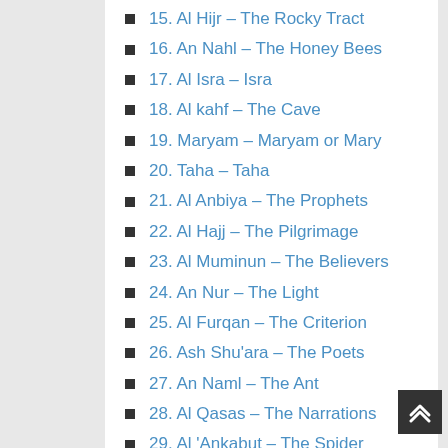15. Al Hijr – The Rocky Tract
16. An Nahl – The Honey Bees
17. Al Isra – Isra
18. Al kahf – The Cave
19. Maryam – Maryam or Mary
20. Taha – Taha
21. Al Anbiya – The Prophets
22. Al Hajj – The Pilgrimage
23. Al Muminun – The Believers
24. An Nur – The Light
25. Al Furqan – The Criterion
26. Ash Shu'ara – The Poets
27. An Naml – The Ant
28. Al Qasas – The Narrations
29. Al 'Ankabut – The Spider